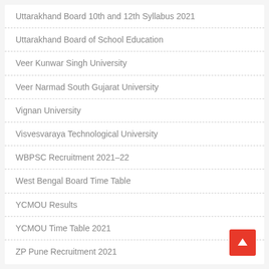Uttarakhand Board 10th and 12th Syllabus 2021
Uttarakhand Board of School Education
Veer Kunwar Singh University
Veer Narmad South Gujarat University
Vignan University
Visvesvaraya Technological University
WBPSC Recruitment 2021–22
West Bengal Board Time Table
YCMOU Results
YCMOU Time Table 2021
ZP Pune Recruitment 2021